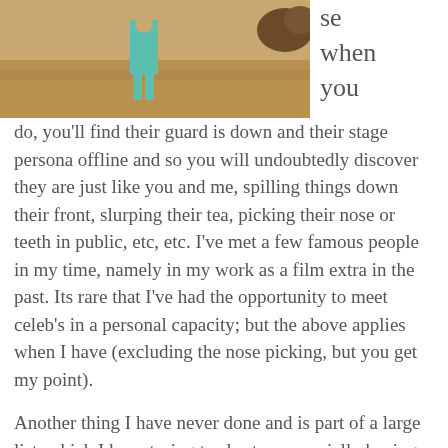[Figure (photo): Photograph showing a person standing on sandy ground, wearing a teal/turquoise outfit, with a dark animal (dog or similar) partially visible at the upper right edge. The image is cropped at the top showing only the lower portion of the scene.]
se when you do, you'll find their guard is down and their stage persona offline and so you will undoubtedly discover they are just like you and me, spilling things down their front, slurping their tea, picking their nose or teeth in public, etc, etc. I've met a few famous people in my time, namely in my work as a film extra in the past. Its rare that I've had the opportunity to meet celeb's in a personal capacity; but the above applies when I have (excluding the nose picking, but you get my point).
Another thing I have never done and is part of a large list, which I keep trying to shorten, especially having hit my half century this year, is visit Glasgow. If I had toould have expanded